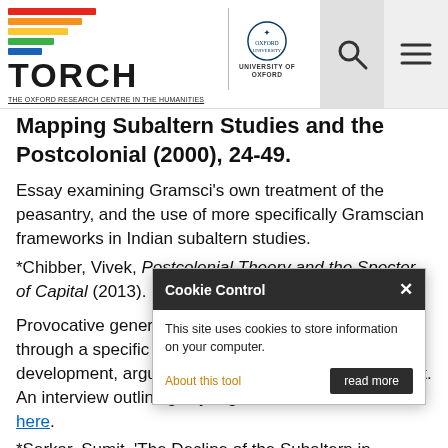[Figure (logo): TORCH - The Oxford Research Centre in the Humanities logo alongside University of Oxford crest, with search and menu icons]
Mapping Subaltern Studies and the Postcolonial (2000), 24-49.
Essay examining Gramsci’s own treatment of the peasantry, and the use of more specifically Gramscian frameworks in Indian subaltern studies.
*Chibber, Vivek, Postcolonial Theory and the Specter of Capital (2013).
Provocative general Marxist critique of Postcolonialism through a specific critique of Subaltern Studies’ development, arguing for universal social development. An interview outlining key arguments can be found here.
*Sarkar, Sumit, ‘The Decline of the Subaltern in Subaltern Studies’, in Vinayak Chaturvedi (ed.), Mapping Subaltern Studies and the Postcolonial